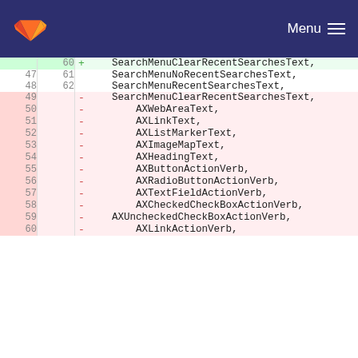GitLab Menu
| old | new | op | code |
| --- | --- | --- | --- |
|  | 60 | + | SearchMenuClearRecentSearchesText, |
| 47 | 61 |  | SearchMenuNoRecentSearchesText, |
| 48 | 62 |  | SearchMenuRecentSearchesText, |
| 49 |  | - | SearchMenuClearRecentSearchesText, |
| 50 |  | - | AXWebAreaText, |
| 51 |  | - | AXLinkText, |
| 52 |  | - | AXListMarkerText, |
| 53 |  | - | AXImageMapText, |
| 54 |  | - | AXHeadingText, |
| 55 |  | - | AXButtonActionVerb, |
| 56 |  | - | AXRadioButtonActionVerb, |
| 57 |  | - | AXTextFieldActionVerb, |
| 58 |  | - | AXCheckedCheckBoxActionVerb, |
| 59 |  | - | AXUncheckedCheckBoxActionVerb, |
| 60 |  | - | AXLinkActionVerb, |